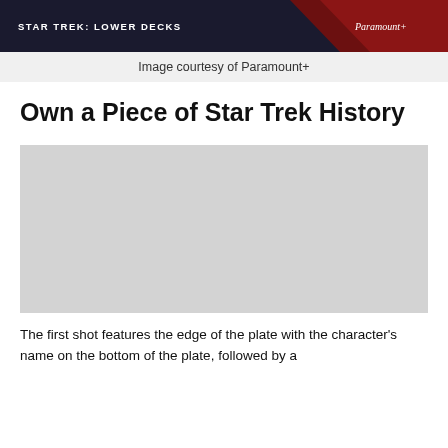[Figure (photo): Star Trek: Lower Decks promotional image with dark background, red accent, Paramount+ logo]
Image courtesy of Paramount+
Own a Piece of Star Trek History
[Figure (photo): Placeholder image (light gray rectangle)]
The first shot features the edge of the plate with the character's name on the bottom of the plate, followed by a